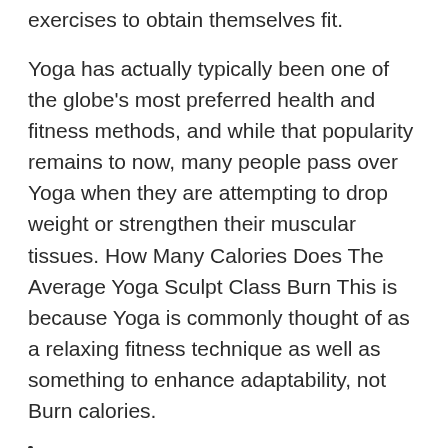exercises to obtain themselves fit.
Yoga has actually typically been one of the globe's most preferred health and fitness methods, and while that popularity remains to now, many people pass over Yoga when they are attempting to drop weight or strengthen their muscular tissues. How Many Calories Does The Average Yoga Sculpt Class Burn This is because Yoga is commonly thought of as a relaxing fitness technique as well as something to enhance adaptability, not Burn calories.
These thoughts regarding Yoga may be true to some level, yet it actually depends on the kind of Yoga that you are engaging in. This is where the Yoga Burn system comes in. The Yoga Burn